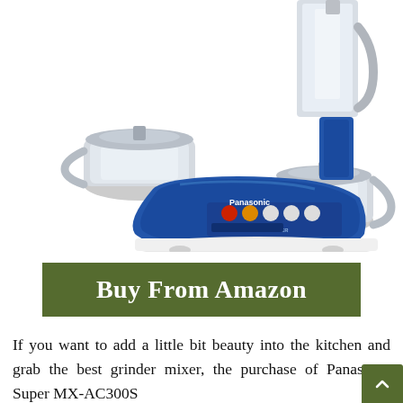[Figure (photo): Panasonic Super MX-AC300S mixer grinder with blue metallic body, white base, stainless steel jars, and control buttons with colored indicators (red, orange, white)]
Buy From Amazon
If you want to add a little bit beauty into the kitchen and grab the best grinder mixer, the purchase of Panasonic Super MX-AC300S